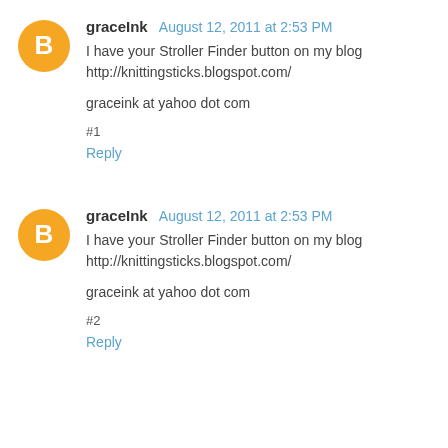graceInk August 12, 2011 at 2:53 PM
I have your Stroller Finder button on my blog http://knittingsticks.blogspot.com/

graceink at yahoo dot com

#1
Reply
graceInk August 12, 2011 at 2:53 PM
I have your Stroller Finder button on my blog http://knittingsticks.blogspot.com/

graceink at yahoo dot com

#2
Reply